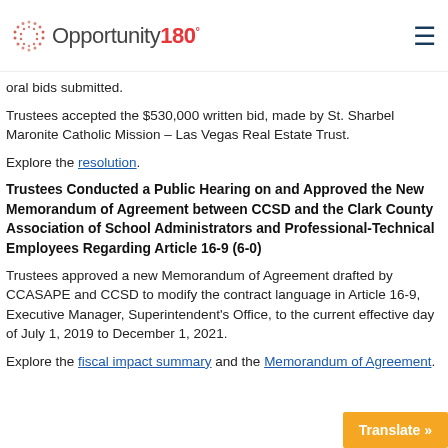Opportunity180°
oral bids submitted.
Trustees accepted the $530,000 written bid, made by St. Sharbel Maronite Catholic Mission – Las Vegas Real Estate Trust.
Explore the resolution.
Trustees Conducted a Public Hearing on and Approved the New Memorandum of Agreement between CCSD and the Clark County Association of School Administrators and Professional-Technical Employees Regarding Article 16-9 (6-0)
Trustees approved a new Memorandum of Agreement drafted by CCASAPE and CCSD to modify the contract language in Article 16-9, Executive Manager, Superintendent's Office, to the current effective day of July 1, 2019 to December 1, 2021.
Explore the fiscal impact summary and the Memorandum of Agreement.